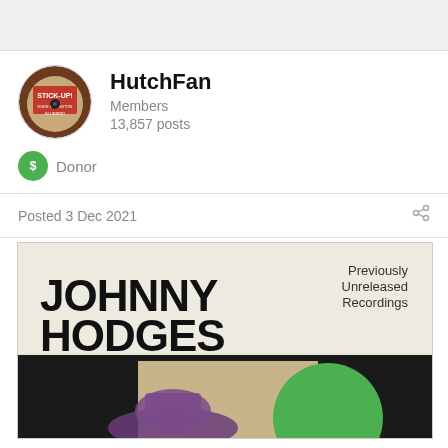[Figure (photo): Top gray bar / header area]
[Figure (photo): Circular avatar image showing a vinyl record album cover with red text 'STICK-UP!' on brown background]
HutchFan
Members
13,857 posts
Donor
Posted 3 Dec 2021
[Figure (photo): Album cover for Johnny Hodges 'Previously Unreleased Recordings' showing the artist name in large bold black text on a cream/white background, with a portion of a portrait showing a figure wearing a purple hat and a large green circle graphic below]